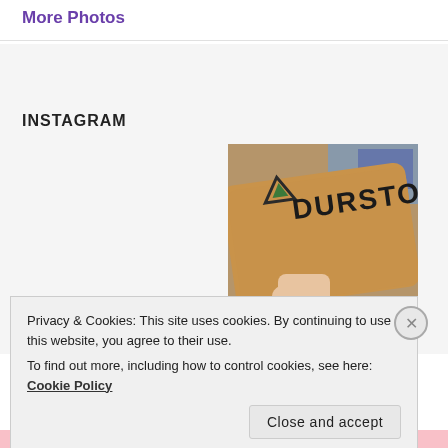More Photos
INSTAGRAM
[Figure (photo): A hand holding a cardboard box with the Durston brand logo (triangle/arrow icon) and the text DURSTON printed on it. Background shows a room interior.]
Privacy & Cookies: This site uses cookies. By continuing to use this website, you agree to their use.
To find out more, including how to control cookies, see here: Cookie Policy
Close and accept